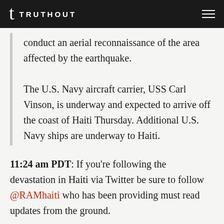TRUTHOUT
conduct an aerial reconnaissance of the area affected by the earthquake.

The U.S. Navy aircraft carrier, USS Carl Vinson, is underway and expected to arrive off the coast of Haiti Thursday. Additional U.S. Navy ships are underway to Haiti.
11:24 am PDT: If you're following the devastation in Haiti via Twitter be sure to follow @RAMhaiti who has been providing must read updates from the ground.